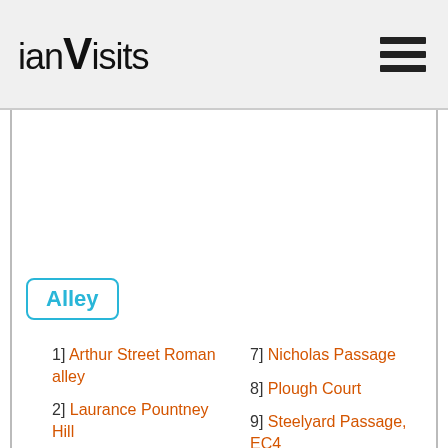ianVisits
Alley
1] Arthur Street Roman alley
2] Laurance Pountney Hill
3] Lombard Court
4] Talbot Court
7] Nicholas Passage
8] Plough Court
9] Steelyard Passage, EC4
10] ...